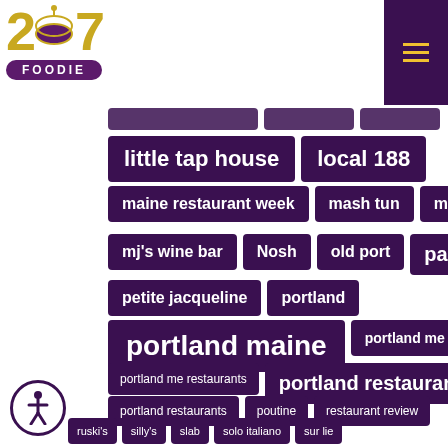[Figure (logo): 207 Foodie logo with stylized bowl replacing the 0 in 207, and a purple FOODIE badge below]
[Figure (other): Purple hamburger menu button in top right corner]
little tap house
local 188
maine restaurant week
mash tun
mi sen
mj's wine bar
Nosh
old port
pai men miyake
petite jacqueline
portland
portland maine
portland me
portland me restaurants
portland restaurant
portland restaurants
poutine
restaurant review
ruski's
silly's
slab
solo italiano
sur lie
tiqa
via vecchia